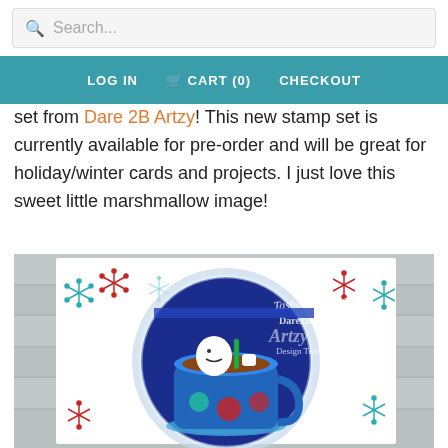Search...
LOG IN   CART (0)   CHECKOUT
set from Dare 2B Artzy! This new stamp set is currently available for pre-order and will be great for holiday/winter cards and projects. I just love this sweet little marshmallow image!
[Figure (photo): A handmade holiday card featuring a marshmallow character sitting in a blue mug of hot cocoa with a straw, set against a white background with red and teal snowflake patterns. The card is photographed on a gray wooden surface. A watermark reads 'Tasha Jorgensen Dare2B Artzy Design Team'.]